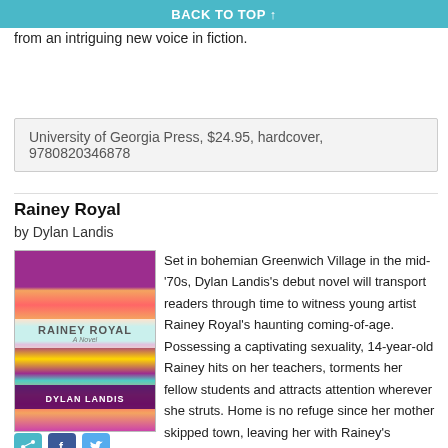BACK TO TOP ↑
from an intriguing new voice in fiction.
University of Georgia Press, $24.95, hardcover, 9780820346878
Rainey Royal
by Dylan Landis
[Figure (illustration): Book cover of Rainey Royal by Dylan Landis, featuring colorful bohemian floral patterns in purple, teal, orange and pink with the title displayed in a white band and author name at the bottom.]
Set in bohemian Greenwich Village in the mid-'70s, Dylan Landis's debut novel will transport readers through time to witness young artist Rainey Royal's haunting coming-of-age. Possessing a captivating sexuality, 14-year-old Rainey hits on her teachers, torments her fellow students and attracts attention wherever she struts. Home is no refuge since her mother skipped town, leaving her with Rainey's eccentric yet charismatic father, Howard, and his lecherous best friend, Gordy, who sneaks